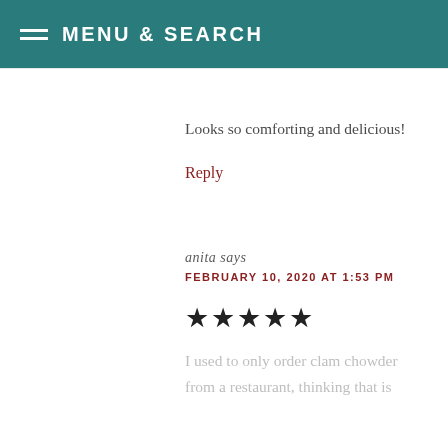MENU & SEARCH
Looks so comforting and delicious!
Reply
anita says
FEBRUARY 10, 2020 AT 1:53 PM
★★★★★
I used to only order clam chowder from a restaurant, thinking that is